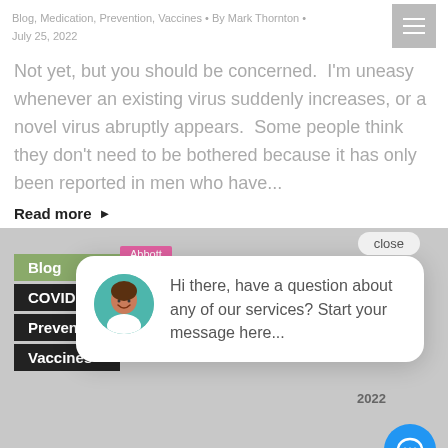Blog, Medication, Prevention, Vaccines • By Mark Thornton • July 25, 2022
Not yet, but you should be concerned.  I'm uneasy whenever an existing virus suddenly increases, or a novel virus abruptly appears.  Some people think they don't need to be bothered because it has only been reported in men who have...
Read more ▶
[Figure (screenshot): Blog tag overlay (green 'Blog', black 'COVID-19', 'Prevention', 'Vaccines' tags) over a gray medical background image, with a pink 'Abbott' label, and year '2022' visible]
[Figure (screenshot): Chat popup overlay with close button, avatar of a woman, text 'Hi there, have a question about any of our services? Start your message here...', and a blue chat bubble icon]